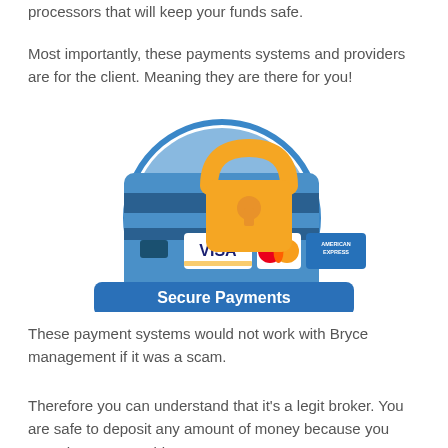processors that will keep your funds safe.
Most importantly, these payments systems and providers are for the client. Meaning they are there for you!
[Figure (illustration): Secure Payments illustration showing a blue credit card with Visa, MasterCard, and American Express logos, overlaid with an orange padlock, inside a blue circle, with a blue banner reading 'Secure Payments' in white bold text.]
These payment systems would not work with Bryce management if it was a scam.
Therefore you can understand that it's a legit broker. You are safe to deposit any amount of money because you won't have any problems